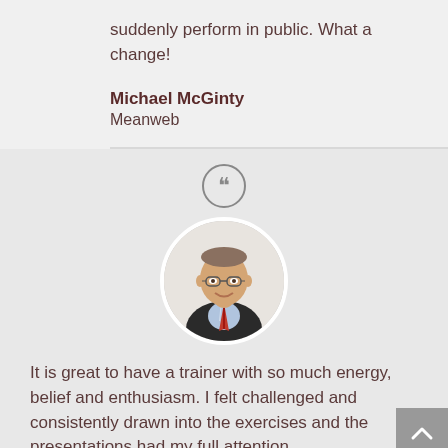suddenly perform in public. What a change!
Michael McGinty
Meanweb
[Figure (photo): Circular portrait photo of a middle-aged man with glasses, wearing a dark suit and red striped tie, smiling]
It is great to have a trainer with so much energy, belief and enthusiasm. I felt challenged and consistently drawn into the exercises and the presentations had my full attention